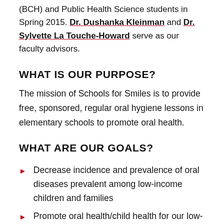(BCH) and Public Health Science students in Spring 2015. Dr. Dushanka Kleinman and Dr. Sylvette La Touche-Howard serve as our faculty advisors.
WHAT IS OUR PURPOSE?
The mission of Schools for Smiles is to provide free, sponsored, regular oral hygiene lessons in elementary schools to promote oral health.
WHAT ARE OUR GOALS?
Decrease incidence and prevalence of oral diseases prevalent among low-income children and families
Promote oral health/child health for our low-income...